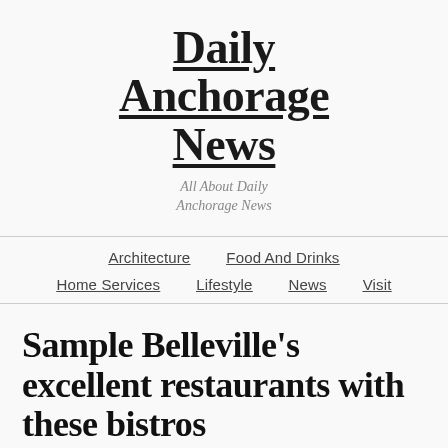Daily Anchorage News
All About Daily Anchorage News
Architecture | Food And Drinks | Home Services | Lifestyle | News | Visit
Sample Belleville's excellent restaurants with these bistros